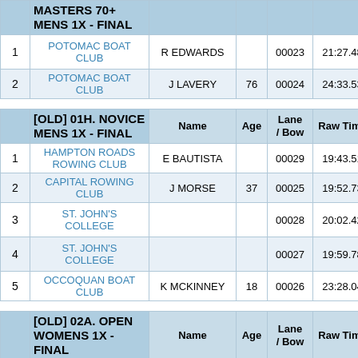|  | Club | Name | Age | Lane / Bow | Raw Time | Pen |
| --- | --- | --- | --- | --- | --- | --- |
|  | MASTERS 70+ MENS 1X - FINAL |  |  |  |  |  |
| 1 | POTOMAC BOAT CLUB | R EDWARDS |  | 00023 | 21:27.48 | 00... |
| 2 | POTOMAC BOAT CLUB | J LAVERY | 76 | 00024 | 24:33.53 | 00... |
|  | [OLD] 01H. NOVICE MENS 1X - FINAL | Name | Age | Lane / Bow | Raw Time | Pen |
| 1 | HAMPTON ROADS ROWING CLUB | E BAUTISTA |  | 00029 | 19:43.51 | 00 |
| 2 | CAPITAL ROWING CLUB | J MORSE | 37 | 00025 | 19:52.73 | 00 |
| 3 | ST. JOHN'S COLLEGE |  |  | 00028 | 20:02.42 | 00... |
| 4 | ST. JOHN'S COLLEGE |  |  | 00027 | 19:59.78 | 01:... |
| 5 | OCCOQUAN BOAT CLUB | K MCKINNEY | 18 | 00026 | 23:28.04 | 00 |
|  | [OLD] 02A. OPEN WOMENS 1X - FINAL | Name | Age | Lane / Bow | Raw Time | Pen |
| 1 | CAPITAL ROWING | A SCHREEFLER | 27 | 00031 | 20:42.35 | 00 |